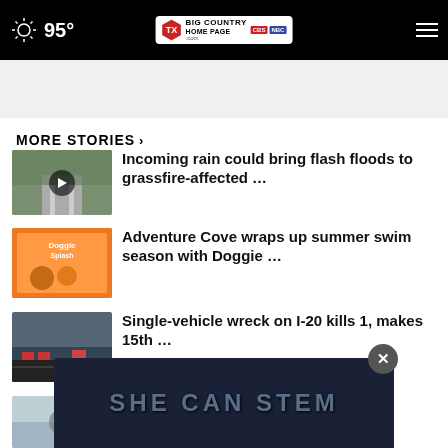95° Big Country Homepage
MORE STORIES >
Incoming rain could bring flash floods to grassfire-affected …
Adventure Cove wraps up summer swim season with Doggie …
Single-vehicle wreck on I-20 kills 1, makes 15th …
MUST WATCH: Abilene Police
[Figure (screenshot): SHE CAN STEM advertisement banner overlay at bottom of page]